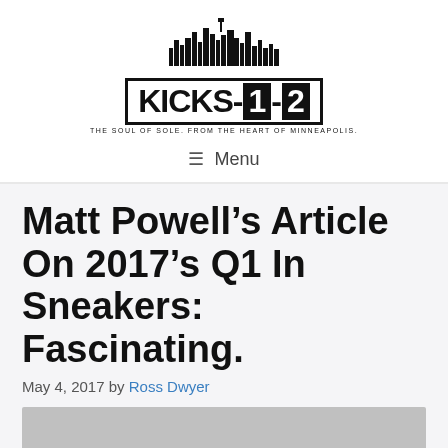[Figure (logo): Kicks-1-2 logo with city skyline silhouette and tagline: THE SOUL OF SOLE. FROM THE HEART OF MINNEAPOLIS.]
≡  Menu
Matt Powell's Article On 2017's Q1 In Sneakers: Fascinating.
May 4, 2017 by Ross Dwyer
[Figure (photo): Grey placeholder image area at bottom of page]